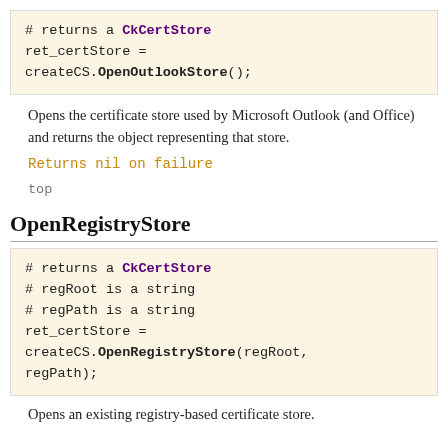[Figure (screenshot): Code block showing: # returns a CkCertStore, ret_certStore = createCS.OpenOutlookStore();]
Opens the certificate store used by Microsoft Outlook (and Office) and returns the object representing that store.
Returns nil on failure
top
OpenRegistryStore
[Figure (screenshot): Code block showing: # returns a CkCertStore, # regRoot is a string, # regPath is a string, ret_certStore = createCS.OpenRegistryStore(regRoot, regPath);]
Opens an existing registry-based certificate store.